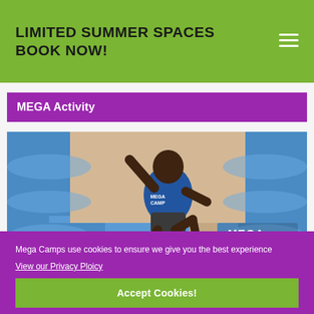LIMITED SUMMER SPACES BOOK NOW!
MEGA Activity
[Figure (photo): Child in a blue Mega Camps t-shirt jumping/sliding on a large inflatable slide structure. The Mega Camps logo is visible in the bottom right corner of the image.]
Inflatable Fun
Mega Camps use cookies to ensure we give you the best experience
View our Privacy Ploicy
Accept Cookies!